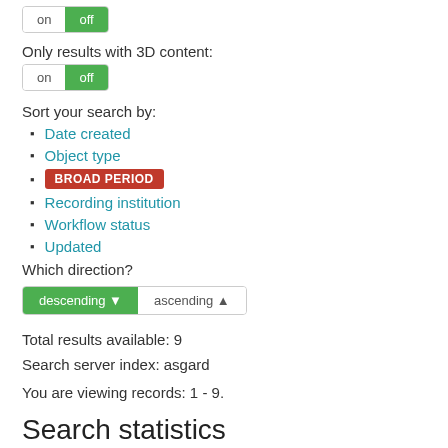[Figure (other): Toggle switch with 'on' and 'off' buttons, 'off' highlighted green]
Only results with 3D content:
[Figure (other): Toggle switch with 'on' and 'off' buttons, 'off' highlighted green]
Sort your search by:
Date created
Object type
BROAD PERIOD
Recording institution
Workflow status
Updated
Which direction?
[Figure (other): Sort direction toggle: 'descending' highlighted green with down arrow, 'ascending' with up arrow]
Total results available: 9
Search server index: asgard
You are viewing records: 1 - 9.
Search statistics
Total quantity: 9
Mean quantity: 1.000